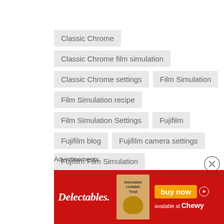Classic Chrome
Classic Chrome film simulation
Classic Chrome settings
Film Simulation
Film Simulation recipe
Film Simulation Settings
Fujifilm
Fujifilm blog
Fujifilm camera settings
Fujifilm Film Simulation
Fujifilm film simulation settings
Fujifilm X-T30
Fujifilm X-T30 settings
Advertisements
[Figure (photo): Delectables cat treat advertisement banner with red background, Delectables logo, Lickable Treat product image, buy now button, and available at Chewy text]